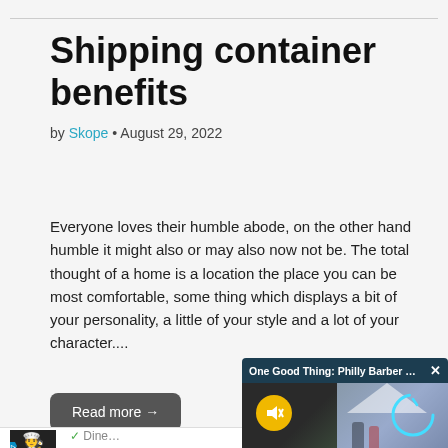Shipping container benefits
by Skope • August 29, 2022
Everyone loves their humble abode, on the other hand humble it might also or may also now not be. The total thought of a home is a location the place you can be most comfortable, some thing which displays a bit of your personality, a little of your style and a lot of your character....
Read more →
[Figure (screenshot): Video popup overlay titled 'One Good Thing: Philly Barber Offer...' with X close button, showing a blurred outdoor scene with people near a tent, a muted speaker icon on yellow circle, and a circular reload indicator.]
[Figure (screenshot): Partial advertisement strip at the bottom showing a dark chef logo icon and checkmark list items 'Dine' and 'Curb' partially visible.]